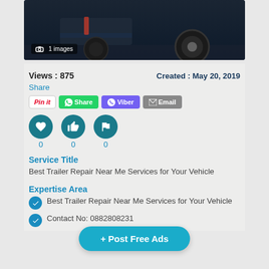[Figure (photo): Truck/trailer vehicle close-up photo with dark background showing wheels]
1 images
Views : 875
Created : May 20, 2019
Share
Pin it | Share | Viber | Email
0  0  0
Service Title
Best Trailer Repair Near Me Services for Your Vehicle
Expertise Area
Best Trailer Repair Near Me Services for Your Vehicle
Contact No: 0882808231